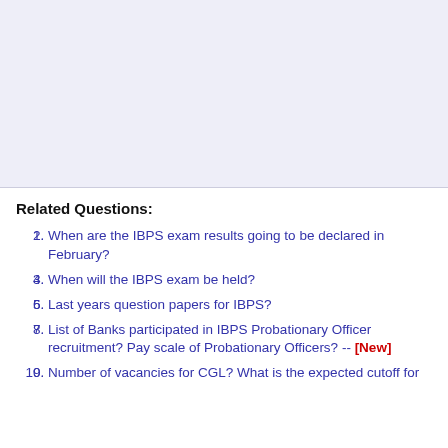[Figure (other): Light blue-gray banner/advertisement area at top of page]
Related Questions:
When are the IBPS exam results going to be declared in February?
When will the IBPS exam be held?
Last years question papers for IBPS?
List of Banks participated in IBPS Probationary Officer recruitment? Pay scale of Probationary Officers? -- [New]
Number of vacancies for CGL? What is the expected cutoff for